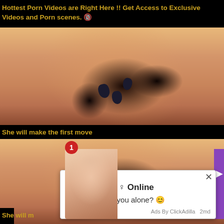Hottest Porn Videos are Right Here !! Get Access to Exclusive Videos and Porn scenes. 🔞
[Figure (photo): Close-up photo of hands with dark painted nails against skin-toned background]
She will make the first move
[Figure (photo): Second close-up photo of hands with dark painted nails, similar to above]
[Figure (other): Advertisement popup: thumbnail photo of woman, badge showing '1', message '♀ (1) Sophie ♀ Online — Hey baby.. are you alone? 😊' with close button X, footer 'Ads By ClickAdilla 2md']
She will m